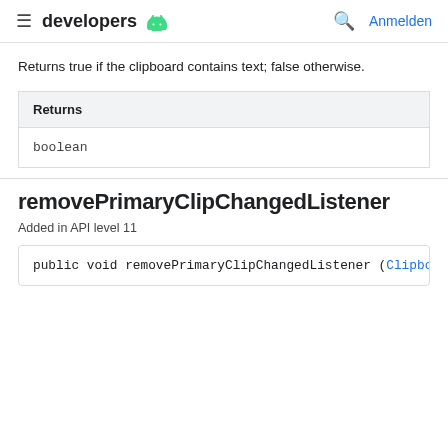≡ developers 🤖   🔍 Anmelden
Returns true if the clipboard contains text; false otherwise.
| Returns |
| --- |
| boolean |
removePrimaryClipChangedListener
Added in API level 11
public void removePrimaryClipChangedListener (Clipbo